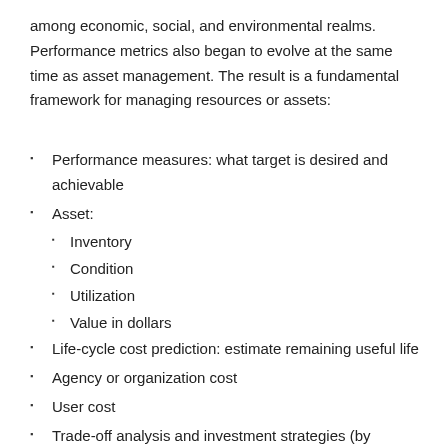among economic, social, and environmental realms. Performance metrics also began to evolve at the same time as asset management. The result is a fundamental framework for managing resources or assets:
Performance measures: what target is desired and achievable
Asset:
Inventory
Condition
Utilization
Value in dollars
Life-cycle cost prediction: estimate remaining useful life
Agency or organization cost
User cost
Trade-off analysis and investment strategies (by combining the above to produce an optimized budget)—criteria to develop needs